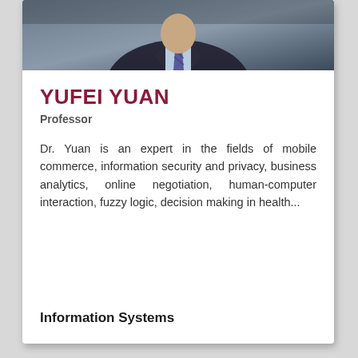[Figure (photo): Portrait photo of Yufei Yuan wearing a dark suit with a blue/purple patterned tie against a dark background]
YUFEI YUAN
Professor
Dr. Yuan is an expert in the fields of mobile commerce, information security and privacy, business analytics, online negotiation, human-computer interaction, fuzzy logic, decision making in health...
Information Systems